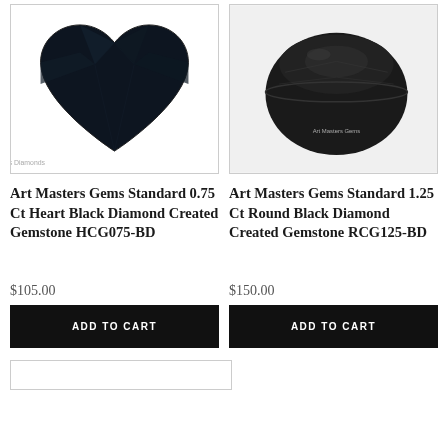[Figure (photo): Heart-shaped black diamond gemstone on white background with watermark 'Art Masters Diamonds']
[Figure (photo): Round black diamond gemstone on white background with watermark 'Art Masters Gems']
Art Masters Gems Standard 0.75 Ct Heart Black Diamond Created Gemstone HCG075-BD
Art Masters Gems Standard 1.25 Ct Round Black Diamond Created Gemstone RCG125-BD
$105.00
$150.00
ADD TO CART
ADD TO CART